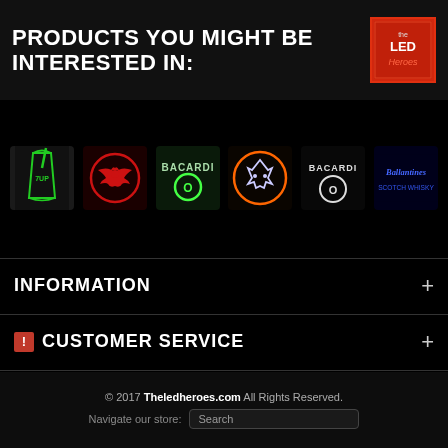PRODUCTS YOU MIGHT BE INTERESTED IN:
[Figure (illustration): Six neon sign product thumbnails: green drink/cup neon, red bat neon on dark background, Bacardi O neon (green/blue text), wolf/bat neon in orange circle, Bacardi O neon (white text), Ballantine's neon (blue cursive)]
[Figure (logo): The LED Heroes logo - red square with neon-style text 'the LED Heroes']
INFORMATION +
CUSTOMER SERVICE +
MY ACCOUNT +
© 2017 Theledheroes.com All Rights Reserved. Navigate our store: Search